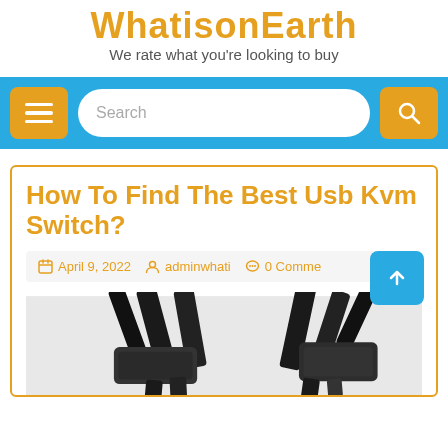WhatisonEarth
We rate what you're looking to buy
[Figure (screenshot): Navigation bar with menu button (hamburger icon), search input field, and search button on a blue background]
How To Find The Best Usb Kvm Switch?
April 9, 2022  adminwhati  0 Comme...
[Figure (photo): Photo of USB KVM switch cables, black cables with connectors visible from below]